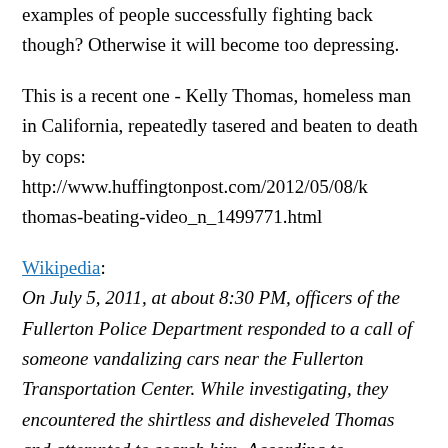examples of people successfully fighting back though? Otherwise it will become too depressing.
This is a recent one - Kelly Thomas, homeless man in California, repeatedly tasered and beaten to death by cops: http://www.huffingtonpost.com/2012/05/08/k thomas-beating-video_n_1499771.html
Wikipedia: On July 5, 2011, at about 8:30 PM, officers of the Fullerton Police Department responded to a call of someone vandalizing cars near the Fullerton Transportation Center. While investigating, they encountered the shirtless and disheveled Thomas and attempted to search him. According to statements given